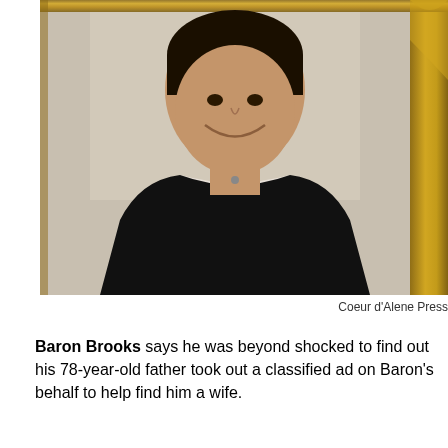[Figure (photo): A framed photograph of a smiling man with dark hair wearing a black sweater over a white collared shirt. The photo is displayed in a decorative gold/wood frame. The background behind him shows a light-colored curtain or wall.]
Coeur d'Alene Press
Baron Brooks says he was beyond shocked to find out his 78-year-old father took out a classified ad on Baron's behalf to help find him a wife.